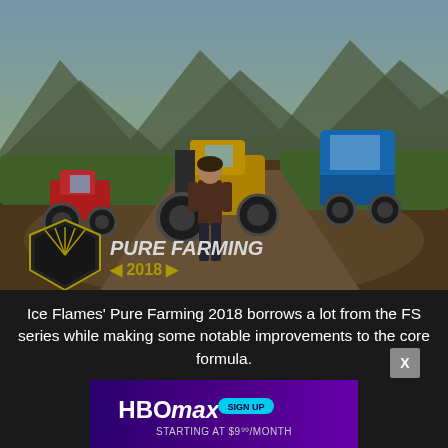[Figure (screenshot): Pure Farming 2018 video game screenshot showing a female character standing in a dirt field with a red tractor on the left, a large yellow tractor in the center-back, and a blue semi-truck on the right. Mountains and green hills in background. Pure Farming 2018 logo in bottom-left corner.]
Ice Flames' Pure Farming 2018 borrows a lot from the FS series while making some notable improvements to the core formula.
[Figure (screenshot): HBO Max advertisement banner with purple gradient background showing HBO Max logo and SIGN UP badge, with text STARTING AT $9⁹⁹/MONTH]